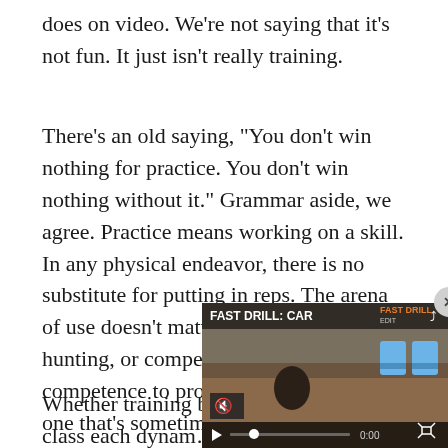does on video. We’re not saying that it’s not fun. It just isn’t really training.
There’s an old saying, “You don’t win nothing for practice. You don’t win nothing without it.” Grammar aside, we agree. Practice means working on a skill. In any physical endeavor, there is no substitute for putting in reps. The arena of use doesn’t matter, be it self-defense, hunting, or competition. The path from competence to proficiency to mastery is one that’s sometimes solitary and sometimes sh…
Whether training by yourse… part of a class each dynam…
[Figure (screenshot): Embedded video player overlay showing 'FAST DRILL: CAR—' with video controls (mute, play, progress bar showing 0:00, fullscreen). Video thumbnail shows a shooting range scene with blue target silhouettes. A close (x) button appears in the top-right corner.]